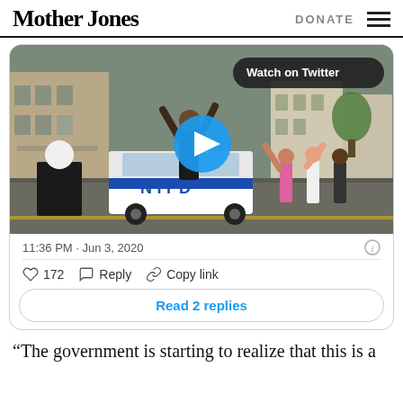Mother Jones | DONATE
[Figure (screenshot): Twitter embedded video showing protesters marching in New York City street with an NYPD police vehicle visible. A person with arms raised is prominent. A 'Watch on Twitter' button and play button overlay are shown.]
11:36 PM · Jun 3, 2020
172   Reply   Copy link
Read 2 replies
“The government is starting to realize that this is a